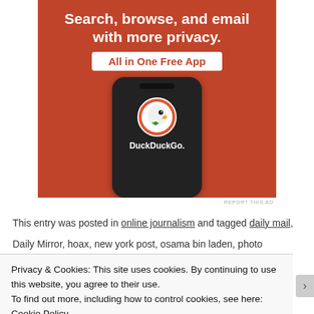[Figure (advertisement): DuckDuckGo app advertisement on orange background showing smartphone with DuckDuckGo logo. Text reads: Search, browse, and email with more privacy. All in One Free App]
REPORT THIS AD
This entry was posted in online journalism and tagged daily mail,
Daily Mirror, hoax, new york post, osama bin laden, photo
Privacy & Cookies: This site uses cookies. By continuing to use this website, you agree to their use.
To find out more, including how to control cookies, see here: Cookie Policy
Close and accept